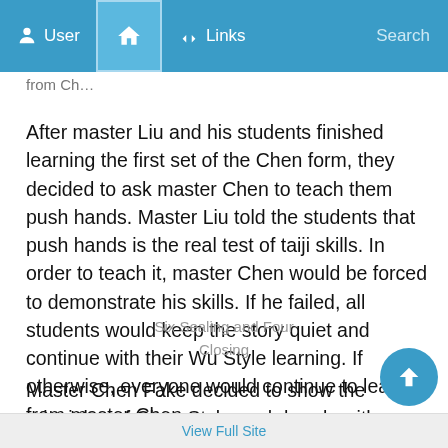User  Home  Links  Search
from Ch…
After master Liu and his students finished learning the first set of the Chen form, they decided to ask master Chen to teach them push hands. Master Liu told the students that push hands is the real test of taiji skills. In order to teach it, master Chen would be forced to demonstrate his skills. If he failed, all students would keep the story quiet and continue with their Wu Style learning. If otherwise, everyone would continue to learn from master Chen.
Six Sealing and Four Closing
Master Chen Fake decided to show the principles of Chen Style push hands with master Liu Musan. On initial touching, the students already saw the difference. Master